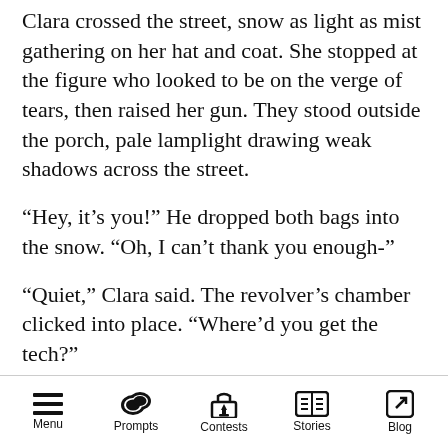Clara crossed the street, snow as light as mist gathering on her hat and coat. She stopped at the figure who looked to be on the verge of tears, then raised her gun. They stood outside the porch, pale lamplight drawing weak shadows across the street.
“Hey, it’s you!” He dropped both bags into the snow. “Oh, I can’t thank you enough-”
“Quiet,” Clara said. The revolver’s chamber clicked into place. “Where’d you get the tech?”
“Why are you pointing that at me? I thought we-”
“You have me mistaken for somebody else. Tell me what time you’re from, where you get the
Menu  Prompts  Contests  Stories  Blog